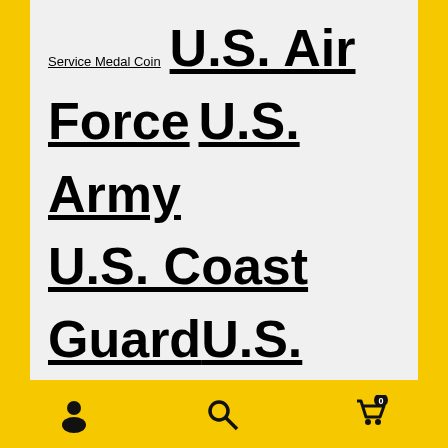Service Medal Coin  U.S. Air Force  U.S. Army  U.S. Coast Guard  U.S. Marine Corps  U.S. Navy  U.S. Presidents  Veteran  Vietnam  Wedding  Wildlife
FOLLOW ON TWITTER
[Figure (screenshot): Twitter widget showing 'Tweets from @RangerCoin' with a Follow button, and a tweet from Ranger Indu... @Rang... Aug 29 saying 'Today is our last day at @NGAUS1878']
Navigation bar with user icon, search icon, and cart icon (0 items)